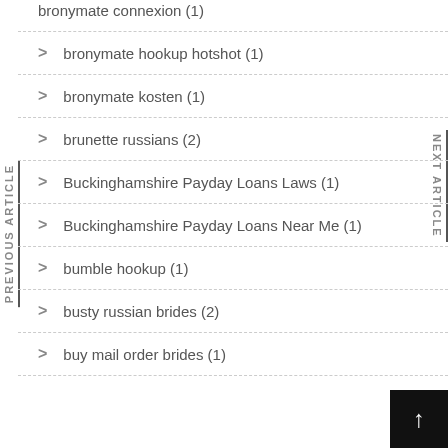bronymate connexion (1)
bronymate hookup hotshot (1)
bronymate kosten (1)
brunette russians (2)
Buckinghamshire Payday Loans Laws (1)
Buckinghamshire Payday Loans Near Me (1)
bumble hookup (1)
busty russian brides (2)
buy mail order brides (1)